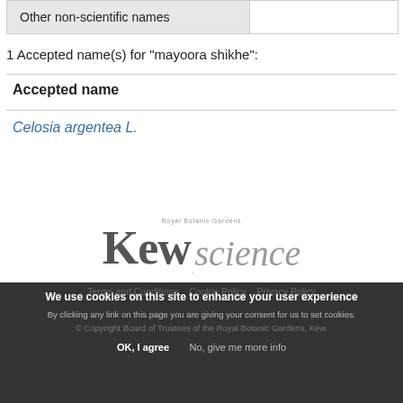| Other non-scientific names |
| --- |
1 Accepted name(s) for "mayoora shikhe":
Accepted name
Celosia argentea L.
[Figure (logo): Royal Botanic Gardens Kew Science logo]
Terms and Conditions  Cookie Policy  Privacy Policy
© Copyright Board of Trustees of the Royal Botanic Gardens, Kew.
We use cookies on this site to enhance your user experience
By clicking any link on this page you are giving your consent for us to set cookies.
OK, I agree   No, give me more info